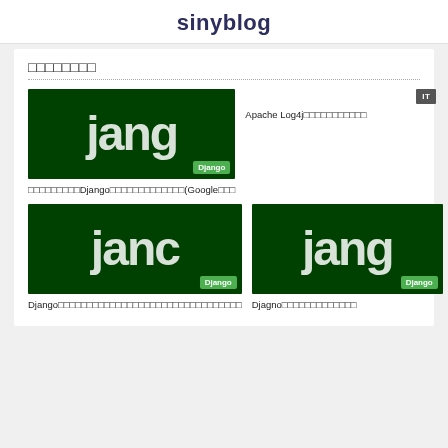sinyblog
□□□□□□□□
[Figure (screenshot): Django logo thumbnail with green badge labeled 'Django']
□□□□□□□□□Django□□□□□□□□□□□□□(Google□□□
[Figure (other): IT badge label]
Apache Log4j□□□□□□□□□□□
[Figure (screenshot): Django logo thumbnail with green badge labeled 'Django']
Django□□□□□□□□□□□□□□□□□□□□□□□□□□□□□□□□
[Figure (screenshot): Django logo thumbnail with green badge labeled 'Django']
Djagno□□□□□□□□□□□□□